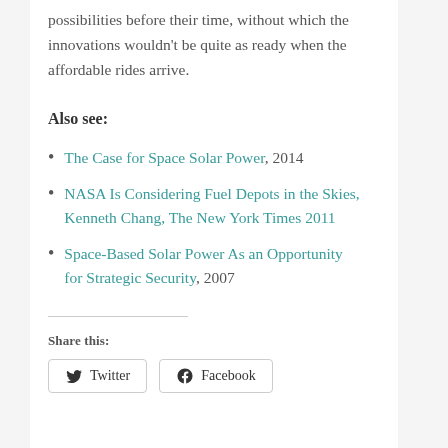possibilities before their time, without which the innovations wouldn't be quite as ready when the affordable rides arrive.
Also see:
The Case for Space Solar Power, 2014
NASA Is Considering Fuel Depots in the Skies, Kenneth Chang, The New York Times 2011
Space-Based Solar Power As an Opportunity for Strategic Security, 2007
Share this:
Twitter  Facebook